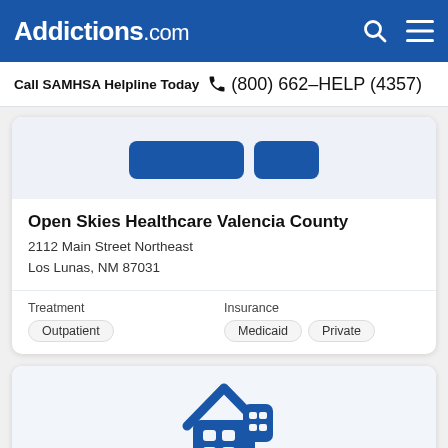Addictions.com
Call SAMHSA Helpline Today  (800) 662-HELP (4357)
[Figure (illustration): Blue rounded rectangle buttons on light blue background — partial view of a facility listing card image area]
Open Skies Healthcare Valencia County
2112 Main Street Northeast
Los Lunas, NM 87031
Treatment
Outpatient
Insurance
Medicaid  Private
[Figure (illustration): Blue building/house icon with grid pattern — partial view of second facility listing card]